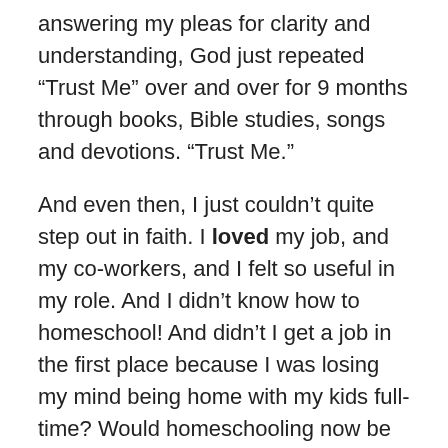answering my pleas for clarity and understanding, God just repeated “Trust Me” over and over for 9 months through books, Bible studies, songs and devotions. “Trust Me.”
And even then, I just couldn’t quite step out in faith. I loved my job, and my co-workers, and I felt so useful in my role. And I didn’t know how to homeschool! And didn’t I get a job in the first place because I was losing my mind being home with my kids full-time? Would homeschooling now be any different?
Again, I didn’t receive answers to those questions. Instead, He reminded me that NO MATTER WHAT (even if homeschooling doesn’t pan out and my kids go back to public school and I feel like I gave up my favorite job for nothing), HE IS FAITHFUL. He has a plan, and His plan is